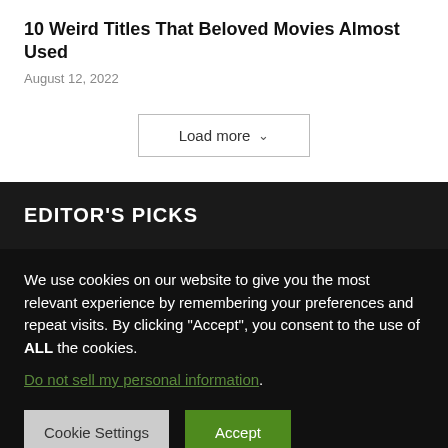10 Weird Titles That Beloved Movies Almost Used
August 12, 2022
Load more
EDITOR'S PICKS
We use cookies on our website to give you the most relevant experience by remembering your preferences and repeat visits. By clicking "Accept", you consent to the use of ALL the cookies.
Do not sell my personal information.
Cookie Settings
Accept